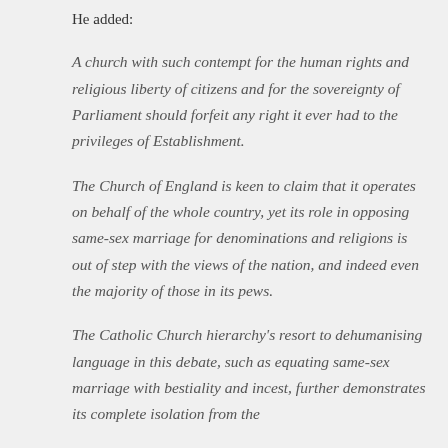He added:
A church with such contempt for the human rights and religious liberty of citizens and for the sovereignty of Parliament should forfeit any right it ever had to the privileges of Establishment.
The Church of England is keen to claim that it operates on behalf of the whole country, yet its role in opposing same-sex marriage for denominations and religions is out of step with the views of the nation, and indeed even the majority of those in its pews.
The Catholic Church hierarchy's resort to dehumanising language in this debate, such as equating same-sex marriage with bestiality and incest, further demonstrates its complete isolation from the